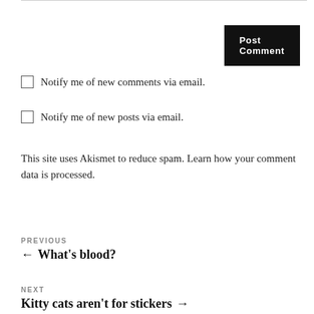Post Comment
Notify me of new comments via email.
Notify me of new posts via email.
This site uses Akismet to reduce spam. Learn how your comment data is processed.
PREVIOUS
← What's blood?
NEXT
Kitty cats aren't for stickers →